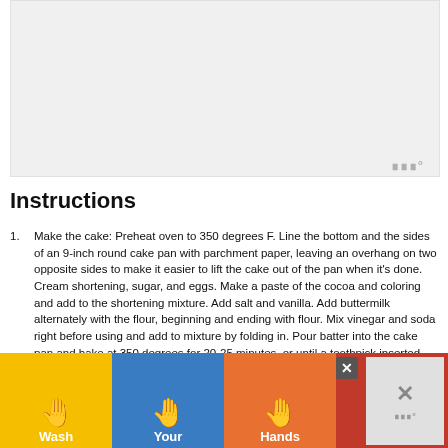[Figure (photo): Placeholder image area (light gray rectangle, possibly a food photo)]
Instructions
Make the cake: Preheat oven to 350 degrees F. Line the bottom and the sides of an 9-inch round cake pan with parchment paper, leaving an overhang on two opposite sides to make it easier to lift the cake out of the pan when it's done. Cream shortening, sugar, and eggs. Make a paste of the cocoa and coloring and add to the shortening mixture. Add salt and vanilla. Add buttermilk alternately with the flour, beginning and ending with flour. Mix vinegar and soda right before using and add to mixture by folding in. Pour batter into the cake pan and bake at 350 degrees for 20-25 minutes, or until a toothpick inserted into the center of the cake comes out clean. Cool completely, cover in wax paper, and freeze for 30 minutes or until firm.
Make the cheesecake: To make the crust, preheat the oven to 350° F. Butter a 9-inch springform pan and place it
[Figure (infographic): Wash Your Hands Often advertisement banner with colorful hand-washing illustrations on yellow, blue, orange, and red backgrounds]